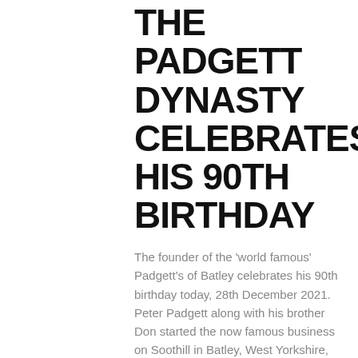THE PADGETT DYNASTY CELEBRATES HIS 90TH BIRTHDAY
The founder of the 'world famous' Padgett's of Batley celebrates his 90th birthday today, 28th December 2021. Peter Padgett along with his brother Don started the now famous business on Soothill in Batley, West Yorkshire, eventually moving to the well-established site which is now the headquarters not only of the motorcycle